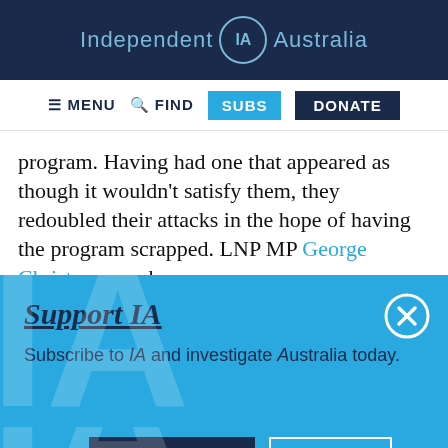Independent IA Australia
[Figure (screenshot): Navigation bar with MENU, FIND, SUBS (blue), DONATE (dark navy) buttons]
program. Having had one that appeared as though it wouldn't satisfy them, they redoubled their attacks in the hope of having the program scrapped. LNP MP George Christensen, a key
Support IA
Subscribe to IA and investigate Australia today.
Close  Subscribe  Donate
Twitter  Facebook  LinkedIn  Flipboard  Link  Plus